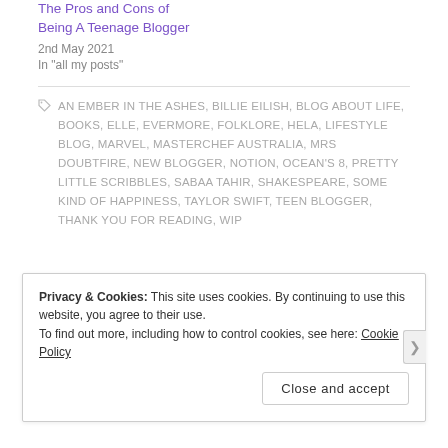The Pros and Cons of Being A Teenage Blogger
2nd May 2021
In "all my posts"
AN EMBER IN THE ASHES, BILLIE EILISH, BLOG ABOUT LIFE, BOOKS, ELLE, EVERMORE, FOLKLORE, HELA, LIFESTYLE BLOG, MARVEL, MASTERCHEF AUSTRALIA, MRS DOUBTFIRE, NEW BLOGGER, NOTION, OCEAN'S 8, PRETTY LITTLE SCRIBBLES, SABAA TAHIR, SHAKESPEARE, SOME KIND OF HAPPINESS, TAYLOR SWIFT, TEEN BLOGGER, THANK YOU FOR READING, WIP
Privacy & Cookies: This site uses cookies. By continuing to use this website, you agree to their use.
To find out more, including how to control cookies, see here: Cookie Policy
Close and accept